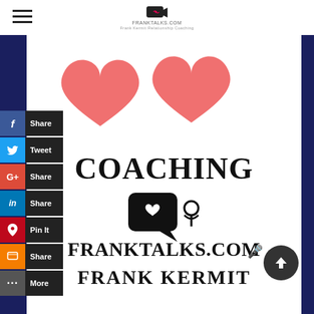FRANKTALKS.COM — Frank Kermit relationship coaching
[Figure (screenshot): Website screenshot showing two salmon/coral heart shapes at top, the word COACHING in large bold serif text, a chat bubble with heart logo icon, FRANKTALKS.COM with microphone emoji, and FRANK KERMIT text below. Dark navy side bars frame the content. Social sharing buttons (Share, Tweet, Share, Share, Pin It, Share, More) are overlaid on the left side. An up-arrow circle button appears bottom right.]